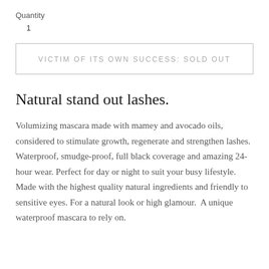Quantity
1
VICTIM OF ITS OWN SUCCESS: SOLD OUT
Natural stand out lashes.
Volumizing mascara made with mamey and avocado oils, considered to stimulate growth, regenerate and strengthen lashes. Waterproof, smudge-proof, full black coverage and amazing 24-hour wear. Perfect for day or night to suit your busy lifestyle. Made with the highest quality natural ingredients and friendly to sensitive eyes. For a natural look or high glamour.  A unique waterproof mascara to rely on.